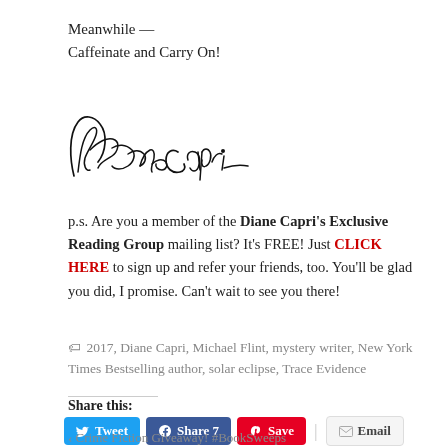Meanwhile —
Caffeinate and Carry On!
[Figure (illustration): Handwritten cursive signature reading 'Diane Capri']
p.s. Are you a member of the Diane Capri's Exclusive Reading Group mailing list? It's FREE! Just CLICK HERE to sign up and refer your friends, too. You'll be glad you did, I promise. Can't wait to see you there!
🏷 2017, Diane Capri, Michael Flint, mystery writer, New York Times Bestselling author, solar eclipse, Trace Evidence
Share this:
Tweet | Share 7 | Save | Email
‹ Crime Fiction Giveaway! #BookSweeps